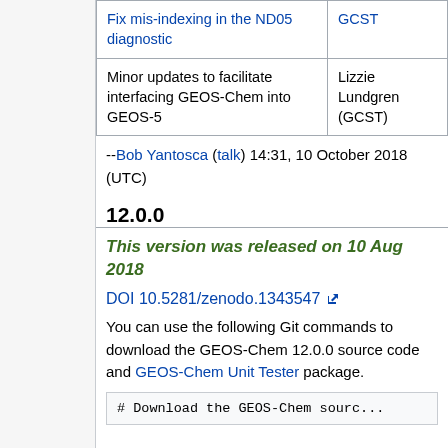| Description | Author |
| --- | --- |
| Fix mis-indexing in the ND05 diagnostic | GCST |
| Minor updates to facilitate interfacing GEOS-Chem into GEOS-5 | Lizzie Lundgren (GCST) |
--Bob Yantosca (talk) 14:31, 10 October 2018 (UTC)
12.0.0
This version was released on 10 Aug 2018
DOI 10.5281/zenodo.1343547
You can use the following Git commands to download the GEOS-Chem 12.0.0 source code and GEOS-Chem Unit Tester package.
# Download the GEOS-Chem sourc...